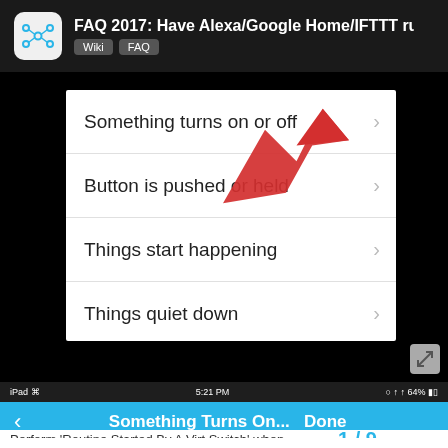FAQ 2017: Have Alexa/Google Home/IFTTT ru… Wiki FAQ
[Figure (screenshot): Mobile app screenshot showing a menu list with options: 'Something turns on or off' (with red arrow pointing to it), 'Button is pushed or held', 'Things start happening', 'Things quiet down'. Each item has a right chevron. A red arrow annotation points to the first item.]
[Figure (screenshot): iPad screenshot showing 'Something Turns On...' screen header in blue with back arrow and Done button, and a list item 'Perform Routine Started By A Virtual Switch when...' with page indicator '1/9'.]